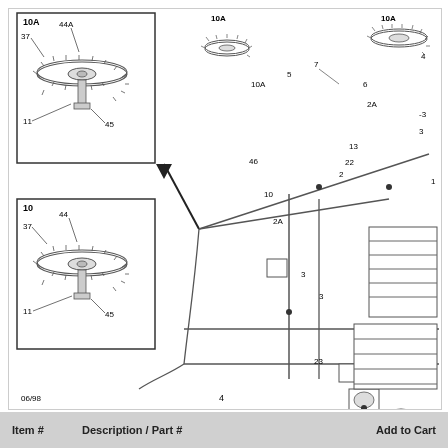[Figure (engineering-diagram): Exploded/schematic engineering diagram of a gas range or stove burner assembly showing numbered parts (1-47) including burners (10A), valves, gas lines, igniter components, and associated hardware. Two inset detail views (labeled 10A and 10) show close-up of individual burner assemblies with parts 37, 44A, 44, 11, 45. Main diagram shows top view of cooktop gas plumbing with parts numbered 1-28 plus 44A, 2A. Part reference code P24B0026 shown at lower right. Date code 06/98 at bottom left, page number 4 at bottom center.]
| Item # | Description / Part # | Add to Cart |
| --- | --- | --- |